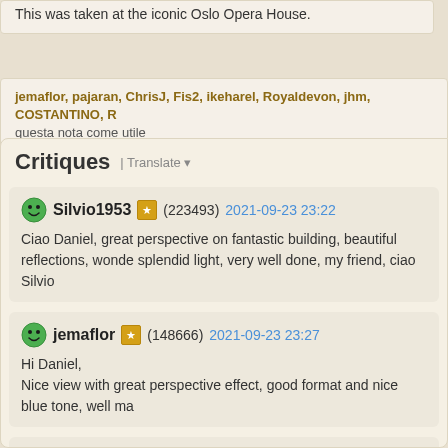This was taken at the iconic Oslo Opera House.
jemaflor, pajaran, ChrisJ, Fis2, ikeharel, Royaldevon, jhm, COSTANTINO, ... questa nota come utile
Critiques | Translate
Silvio1953 (223493) 2021-09-23 23:22
Ciao Daniel, great perspective on fantastic building, beautiful reflections, wonder... splendid light, very well done, my friend, ciao Silvio
jemaflor (148666) 2021-09-23 23:27
Hi Daniel,
Nice view with great perspective effect, good format and nice blue tone, well ma...
dedee (3279) 2021-09-24 0:00
Hi Daniel,